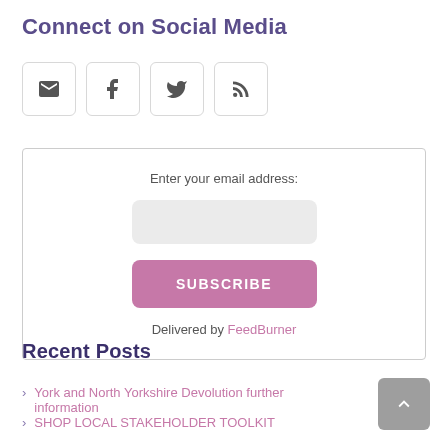Connect on Social Media
[Figure (illustration): Four social media icon buttons: envelope (email), Facebook (f), Twitter (bird), RSS feed symbol — each in a rounded square outline box]
[Figure (infographic): Email subscription widget with label 'Enter your email address:', empty input field, pink SUBSCRIBE button, and 'Delivered by FeedBurner' link]
Recent Posts
York and North Yorkshire Devolution further information
SHOP LOCAL STAKEHOLDER TOOLKIT